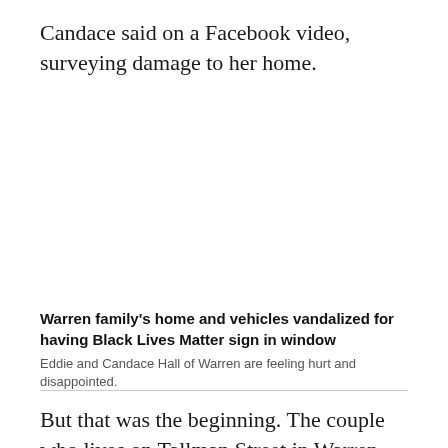Candace said on a Facebook video, surveying damage to her home.
Warren family's home and vehicles vandalized for having Black Lives Matter sign in window
Eddie and Candace Hall of Warren are feeling hurt and disappointed.
But that was the beginning. The couple who lives on Tallman Street in Warren says they love their